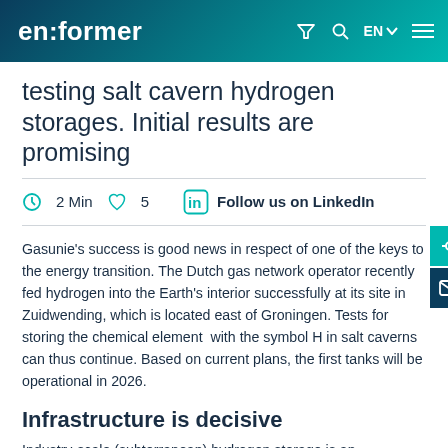en:former
testing salt cavern hydrogen storages. Initial results are promising
2 Min   5   Follow us on LinkedIn
Gasunie's success is good news in respect of one of the keys to the energy transition. The Dutch gas network operator recently fed hydrogen into the Earth's interior successfully at its site in Zuidwending, which is located east of Groningen. Tests for storing the chemical element with the symbol H in salt caverns can thus continue. Based on current plans, the first tanks will be operational in 2026.
Infrastructure is decisive
Industry-scale (subterranean) hydrogen storage is an indispensable element of the future energy mix. Large